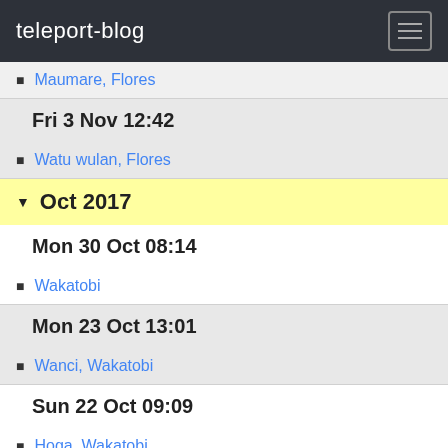teleport-blog
Maumare, Flores
Fri 3 Nov 12:42
Watu wulan, Flores
Oct 2017
Mon 30 Oct 08:14
Wakatobi
Mon 23 Oct 13:01
Wanci, Wakatobi
Sun 22 Oct 09:09
Hoga, Wakatobi
Sat 7 Oct 09:53
Banda Naira
Wed 4 Oct 15:50
Kasya island, Misool
Balbulol, Misool